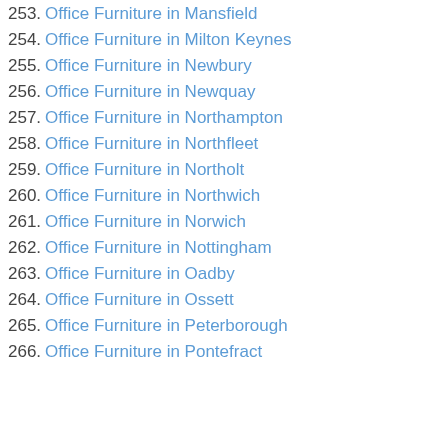253. Office Furniture in Mansfield
254. Office Furniture in Milton Keynes
255. Office Furniture in Newbury
256. Office Furniture in Newquay
257. Office Furniture in Northampton
258. Office Furniture in Northfleet
259. Office Furniture in Northolt
260. Office Furniture in Northwich
261. Office Furniture in Norwich
262. Office Furniture in Nottingham
263. Office Furniture in Oadby
264. Office Furniture in Ossett
265. Office Furniture in Peterborough
266. Office Furniture in Pontefract